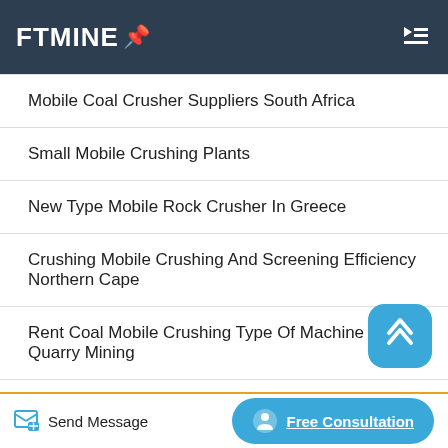FTMINE
Mobile Coal Crusher Suppliers South Africa
Small Mobile Crushing Plants
New Type Mobile Rock Crusher In Greece
Crushing Mobile Crushing And Screening Efficiency Northern Cape
Rent Coal Mobile Crushing Type Of Machine For Quarry Mining
Mobile Jaw Crushing Plant With Good Priron Ore For Sell
Send Message  Free Consultation